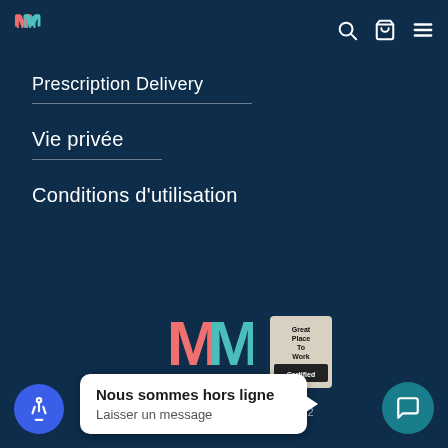Mednow — navigation header with logo and icons
Prescription Delivery
Vie privée
Conditions d'utilisation
[Figure (logo): Mednow logo (two abstract M shapes in pink and teal) centered in footer area]
[Figure (logo): Great Place To Work Certified badge]
© Mednow All Rights Reserved 2022
Nous sommes hors ligne
Laisser un message